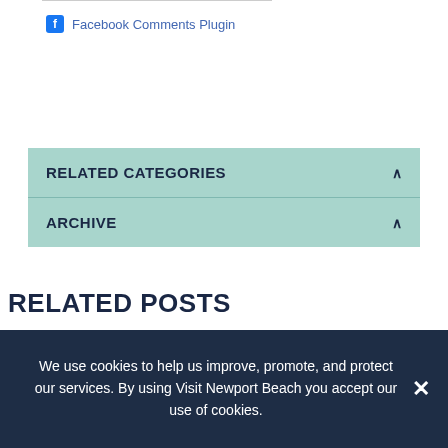[Figure (screenshot): Facebook Comments Plugin branding row with Facebook 'f' icon and text link 'Facebook Comments Plugin']
[Figure (screenshot): Social share icons row: italic bold 'f' (Facebook) and '+' (Google Plus or similar)]
RELATED CATEGORIES
ARCHIVE
RELATED POSTS
[Figure (photo): Dark thumbnail image (left) and blue/purple gradient thumbnail image (right) below the Related Posts heading]
We use cookies to help us improve, promote, and protect our services. By using Visit Newport Beach you accept our use of cookies.